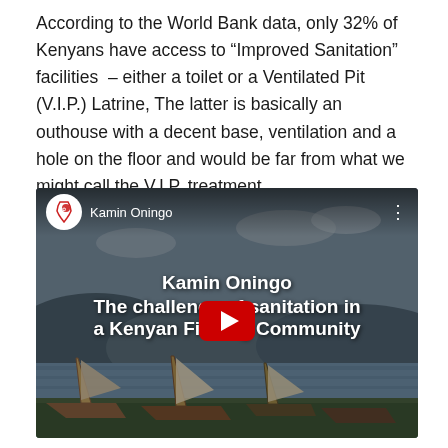According to the World Bank data, only 32% of Kenyans have access to “Improved Sanitation” facilities – either a toilet or a Ventilated Pit (V.I.P.) Latrine, The latter is basically an outhouse with a decent base, ventilation and a hole on the floor and would be far from what we might call the V.I.P. treatment.
[Figure (screenshot): YouTube video thumbnail showing a Kenyan lake scene with sailboats on shore. The video is titled 'Kamin Oningo – The challenges of sanitation in a Kenyan Fishing Community'. A red YouTube play button is centered on the image. The channel logo (Africa outline with maple leaf) and channel name 'Kamin Oningo' appear in the top-left.]